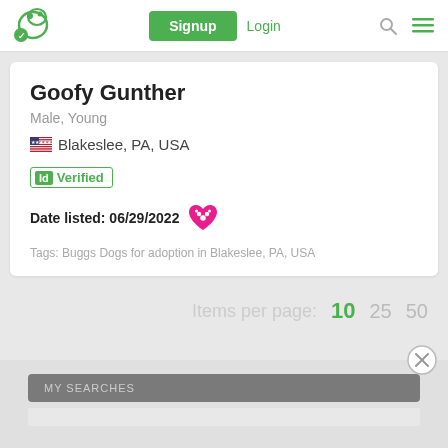Signup | Login
Goofy Gunther
Male, Young
🇺🇸 Blakeslee, PA, USA
Id Verified
Date listed: 06/29/2022
Tags: Buggs Dogs for adoption in Blakeslee, PA, USA
Items per page:  10  25  50
MY SEARCHES